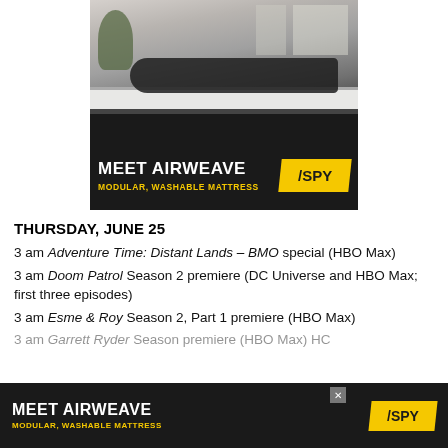[Figure (photo): Advertisement for Airweave mattress showing a woman lying on a white mattress in a bedroom setting, with text 'MEET AIRWEAVE - MODULAR, WASHABLE MATTRESS' and SPY logo on black/yellow background]
THURSDAY, JUNE 25
3 am Adventure Time: Distant Lands – BMO special (HBO Max)
3 am Doom Patrol Season 2 premiere (DC Universe and HBO Max; first three episodes)
3 am Esme & Roy Season 2, Part 1 premiere (HBO Max)
[Figure (photo): Bottom sticky advertisement for Airweave mattress with text 'MEET AIRWEAVE - MODULAR, WASHABLE MATTRESS' and SPY logo]